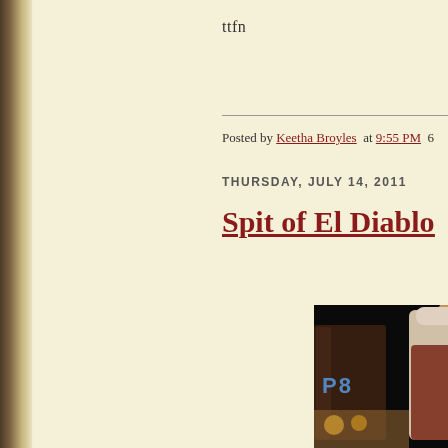ttfn
Posted by Keetha Broyles at 9:55 PM 6
THURSDAY, JULY 14, 2011
Spit of El Diablo
[Figure (photo): Photo showing a dark beverage in a glass with a Pepsi logo visible, and a hand holding what appears to be a hot sauce bottle, with food items visible in the background against a dark background.]